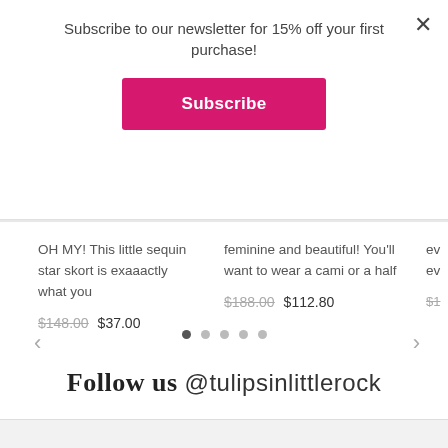Subscribe to our newsletter for 15% off your first purchase!
Subscribe
OH MY! This little sequin star skort is exaaactly what you
$148.00  $37.00
feminine and beautiful! You'll want to wear a cami or a half
$188.00  $112.80
Follow us @tulipsinlittlerock